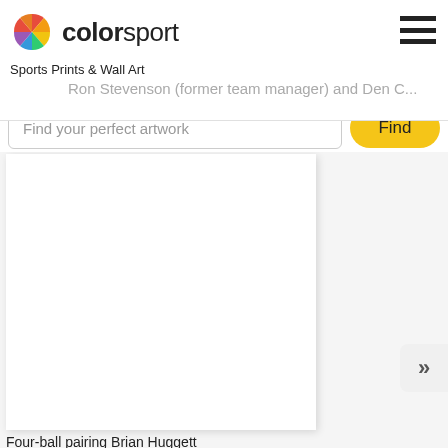[Figure (logo): Colorsport logo with colorful shutter/pinwheel icon and text 'colorsport']
Sports Prints & Wall Art
Ron Stevenson (former team manager) and Den C...
Find your perfect artwork
Find
[Figure (photo): White/blank image placeholder for Four-ball pairing Brian Huggett]
Four-ball pairing Brian Huggett
[Figure (photo): White/blank image placeholder for second artwork]